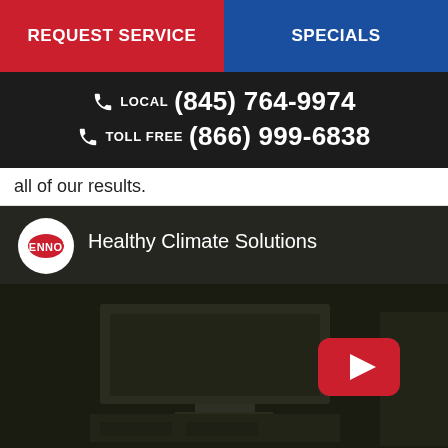REQUEST SERVICE | SPECIALS
LOCAL (845) 764-9974
TOLL FREE (866) 999-6838
all of our results.
[Figure (screenshot): Lennox Healthy Climate Solutions YouTube video embed with play button and Watch on YouTube bar at the bottom]